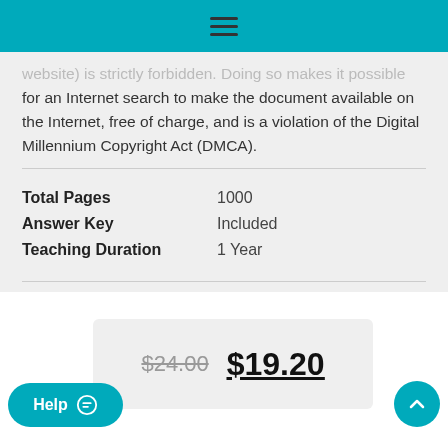Navigation menu
website) is strictly forbidden. Doing so makes it possible for an Internet search to make the document available on the Internet, free of charge, and is a violation of the Digital Millennium Copyright Act (DMCA).
| Field | Value |
| --- | --- |
| Total Pages | 1000 |
| Answer Key | Included |
| Teaching Duration | 1 Year |
$24.00  $19.20